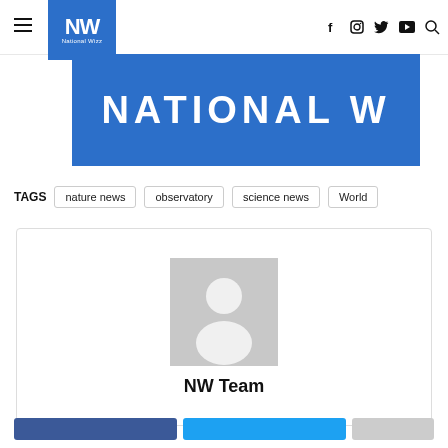[Figure (logo): National Wizz (NW) logo in blue square with white NW letters]
[Figure (screenshot): Blue banner with white text 'NATIONAL W' (cropped)]
TAGS   nature news   observatory   science news   World
[Figure (illustration): Author card with grey placeholder avatar silhouette and name 'NW Team']
NW Team